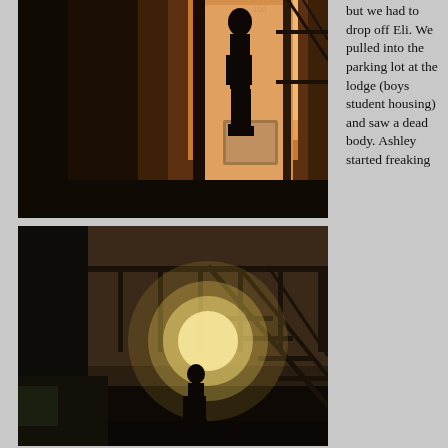[Figure (photo): Dark silhouette of a person standing in a doorway with warm orange/yellow light behind them, night scene outside a building with stairs and railing visible]
[Figure (photo): Dark night scene of a person standing near a bright light source under an exterior staircase of an apartment or lodge building]
but we had to drop off Eli. We pulled into the parking lot at the lodge (boys student housing) and saw a dead body. Ashley started freaking